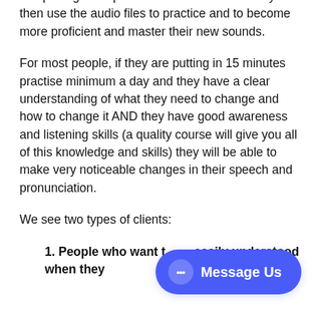complete guided practise with our videos. They then use the audio files to practice and to become more proficient and master their new sounds.
For most people, if they are putting in 15 minutes practise minimum a day and they have a clear understanding of what they need to change and how to change it AND they have good awareness and listening skills (a quality course will give you all of this knowledge and skills) they will be able to make very noticeable changes in their speech and pronunciation.
We see two types of clients:
1. People who want to be easily understood when they speak in English.